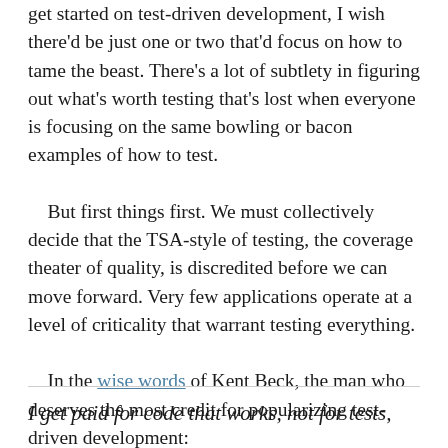get started on test-driven development, I wish there'd be just one or two that'd focus on how to tame the beast. There's a lot of subtlety in figuring out what's worth testing that's lost when everyone is focusing on the same bowling or bacon examples of how to test.
    But first things first. We must collectively decide that the TSA-style of testing, the coverage theater of quality, is discredited before we can move forward. Very few applications operate at a level of criticality that warrant testing everything.
    In the wise words of Kent Beck, the man who deserves the most credit for popularizing test-driven development:
I get paid for code that works, not for tests,